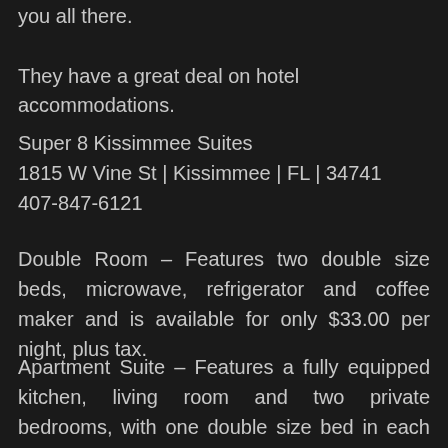you all there.
They have a great deal on hotel accommodations.
Super 8 Kissimmee Suites
1815 W Vine St | Kissimmee | FL | 34741
407-847-6121
Double Room – Features two double size beds, microwave, refrigerator and coffee maker and is available for only $33.00 per night, plus tax.
Apartment Suite – Features a fully equipped kitchen, living room and two private bedrooms, with one double size bed in each bedroom. This suite is available for only $59.00 per night plus tax.